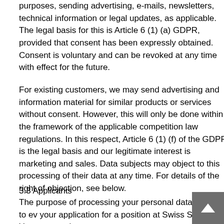purposes, sending advertising, e-mails, newsletters, technical information or legal updates, as applicable. The legal basis for this is Article 6 (1) (a) GDPR, provided that consent has been expressly obtained. Consent is voluntary and can be revoked at any time with effect for the future.
For existing customers, we may send advertising and information material for similar products or services without consent. However, this will only be done within the framework of the applicable competition law regulations. In this respect, Article 6 (1) (f) of the GDPR is the legal basis and our legitimate interest is marketing and sales. Data subjects may object to this processing of their data at any time. For details of the right of objection, see below.
3.3 Applicants
The purpose of processing your personal data is to ev your application for a position at Swiss Steel. Your personal